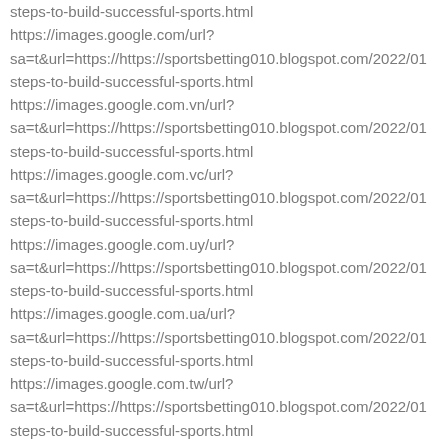steps-to-build-successful-sports.html
https://images.google.com/url?sa=t&url=https://https://sportsbetting010.blogspot.com/2022/01steps-to-build-successful-sports.html
https://images.google.com.vn/url?sa=t&url=https://https://sportsbetting010.blogspot.com/2022/01steps-to-build-successful-sports.html
https://images.google.com.vc/url?sa=t&url=https://https://sportsbetting010.blogspot.com/2022/01steps-to-build-successful-sports.html
https://images.google.com.uy/url?sa=t&url=https://https://sportsbetting010.blogspot.com/2022/01steps-to-build-successful-sports.html
https://images.google.com.ua/url?sa=t&url=https://https://sportsbetting010.blogspot.com/2022/01steps-to-build-successful-sports.html
https://images.google.com.tw/url?sa=t&url=https://https://sportsbetting010.blogspot.com/2022/01steps-to-build-successful-sports.html
https://images.google.com.tr/url?sa=t&url=https://https://sportsbetting010.blogspot.com/2022/01steps-to-build-successful-sports.html